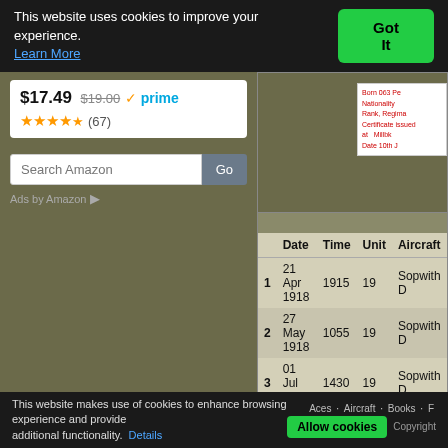This website uses cookies to improve your experience. Learn More  Got It
$17.49  $19.00  ✓prime
★★★★★ (67)
Search Amazon  Go
Ads by Amazon
[Figure (other): Partial document/certificate image clipped on right side]
|  | Date | Time | Unit | Aircraft |
| --- | --- | --- | --- | --- |
| 1 | 21 Apr 1918 | 1915 | 19 | Sopwith D |
| 2 | 27 May 1918 | 1055 | 19 | Sopwith D |
| 3 | 01 Jul 1918 | 1430 | 19 | Sopwith D |
| 4 | 02 Jul 1918 | 0530 | 19 | Sopwith D |
| 5 | 27 Sep 1918 | 0735 | 19 | Sopwith D |
1  Shared with Capt Gordon Irving, Lt James
This website makes use of cookies to enhance browsing experience and provide additional functionality.  Details   Aces · Aircraft · Books · F   Allow cookies   Copyright